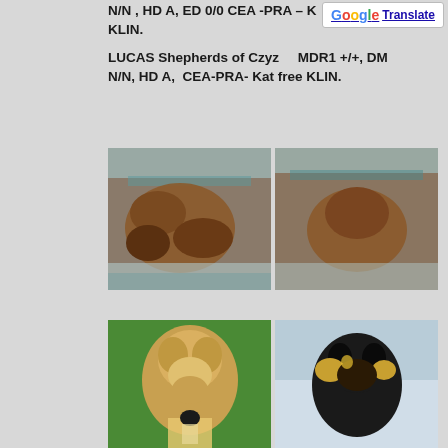N/N , HD A, ED 0/0 CEA -PRA – K KLIN. LUCAS Shepherds of Czyz    MDR1 +/+, DM N/N, HD A,  CEA-PRA- Kat free KLIN.
[Figure (photo): Two side-by-side photos of newborn puppy/puppies on a striped blanket, viewed from above.]
[Figure (photo): Two side-by-side photos of Rough Collie dogs — a sable/white on the left and a tri-color on the right.]